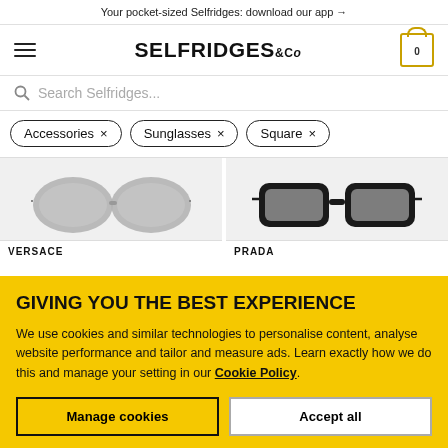Your pocket-sized Selfridges: download our app →
[Figure (logo): Selfridges & Co logo with hamburger menu and shopping cart icon]
Search Selfridges...
Accessories ×
Sunglasses ×
Square ×
[Figure (photo): Two product images: grey mirrored square sunglasses (Versace) and black square sunglasses (Prada)]
GIVING YOU THE BEST EXPERIENCE
We use cookies and similar technologies to personalise content, analyse website performance and tailor and measure ads. Learn exactly how we do this and manage your setting in our Cookie Policy.
Manage cookies
Accept all